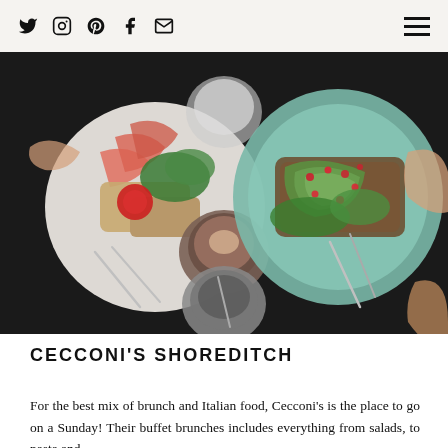Social icons: Twitter, Instagram, Pinterest, Facebook, Email — Hamburger menu
[Figure (photo): Overhead flat-lay photo of two brunch dishes on a dark table: a white ceramic plate with salmon, greens, tomato and toast on the left; a teal ceramic plate with avocado toast topped with pomegranate seeds on the right; a coffee cup and small bowl in the center; hands with rings visible at edges.]
CECCONI'S SHOREDITCH
For the best mix of brunch and Italian food, Cecconi's is the place to go on a Sunday! Their buffet brunches includes everything from salads, to pasta and